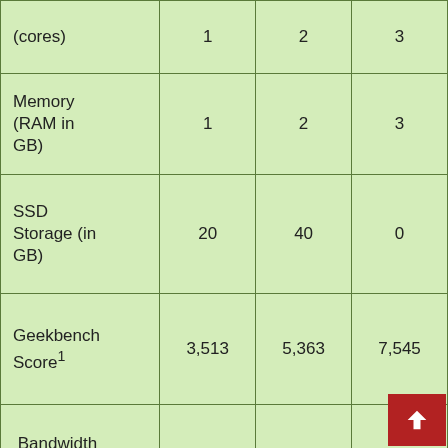|  | 1 | 2 | 3 |
| --- | --- | --- | --- |
| (cores) | 1 | 2 | 3 |
| Memory (RAM in GB) | 1 | 2 | 3 |
| SSD Storage (in GB) | 20 | 40 | 0 |
| Geekbench Score¹ | 3,513 | 5,363 | 7,545 |
| Bandwidth (in TB) | 1 | 2 | 3 |
| Dedicated IP | Yes | Yes | Yes |